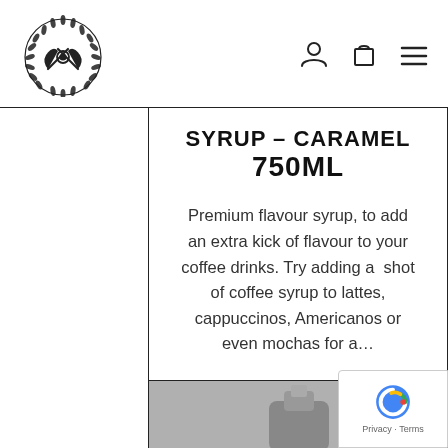[Figure (logo): Circular wreath logo with crossed tools/axes in center, black and white emblem]
SYRUP – CARAMEL 750ML
Premium flavour syrup, to add an extra kick of flavour to your coffee drinks. Try adding a shot of coffee syrup to lattes, cappuccinos, Americanos or even mochas for a…
$19.95
BUY
INFO
[Figure (photo): Bottom portion of product image, gray background with partial view of syrup bottle]